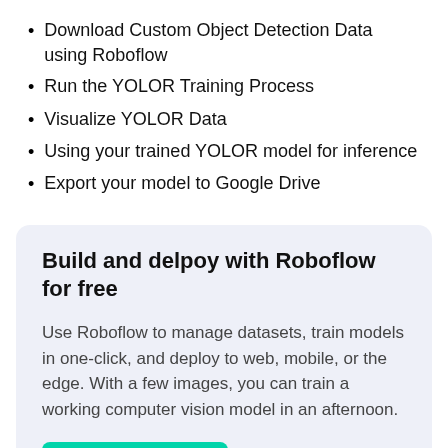Download Custom Object Detection Data using Roboflow
Run the YOLOR Training Process
Visualize YOLOR Data
Using your trained YOLOR model for inference
Export your model to Google Drive
Build and delpoy with Roboflow for free
Use Roboflow to manage datasets, train models in one-click, and deploy to web, mobile, or the edge. With a few images, you can train a working computer vision model in an afternoon.
Try Roboflow